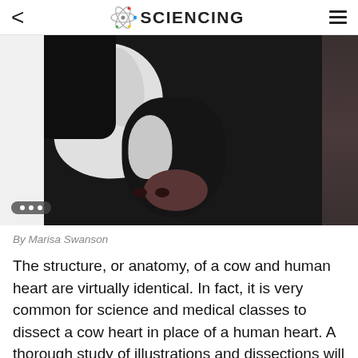< SCIENCING ≡
[Figure (photo): Close-up photo of a black and white dairy cow facing the camera, with another cow visible behind it, in a farm/barn setting with gray metal pipes in the background.]
By Marisa Swanson
The structure, or anatomy, of a cow and human heart are virtually identical. In fact, it is very common for science and medical classes to dissect a cow heart in place of a human heart. A thorough study of illustrations and dissections will help you to understand the differences and similarities